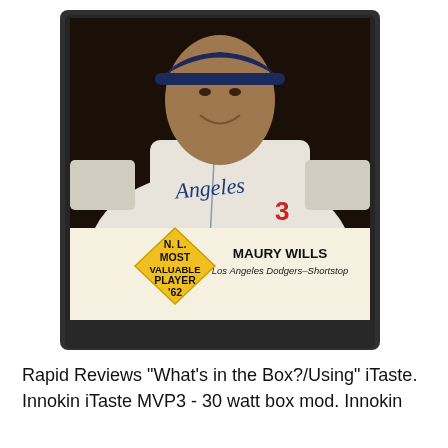[Figure (photo): A graded baseball card in a dark plastic slab holder. The card shows Maury Wills of the Los Angeles Dodgers in his uniform, smiling. A yellow diamond shape on the card reads 'N.L. MOST VALUABLE PLAYER '62'. Below the photo the card shows 'MAURY WILLS' and 'Los Angeles Dodgers–Shortstop'.]
Rapid Reviews "What's in the Box?/Using" iTaste. Innokin iTaste MVP3 - 30 watt box mod. Innokin